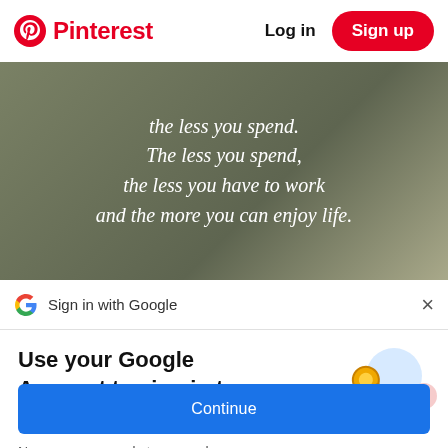Pinterest  Log in  Sign up
[Figure (photo): Dark olive/grey background with white italic text: 'the less you spend. The less you spend, the less you have to work and the more you can enjoy life.']
Sign in with Google
Use your Google Account to sign in to Pinterest
No more passwords to remember. Signing in is fast, simple and secure.
[Figure (illustration): Google passkey/key illustration with colorful circles and a golden key]
Continue